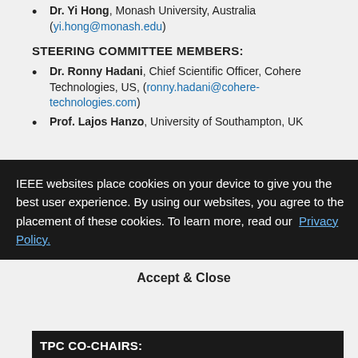Dr. Yi Hong, Monash University, Australia (yi.hong@monash.edu)
STEERING COMMITTEE MEMBERS:
Dr. Ronny Hadani, Chief Scientific Officer, Cohere Technologies, US, (ronny.hadani@cohere-technologies.com)
Prof. Lajos Hanzo, University of Southampton, UK
Prof. Emanuele Viterbo, Monash University, Australia
Prof. Pingzhi Fan, Southwest Jiaotong University, China
IEEE websites place cookies on your device to give you the best user experience. By using our websites, you agree to the placement of these cookies. To learn more, read our Privacy Policy.
Accept & Close
TPC CO-CHAIRS: